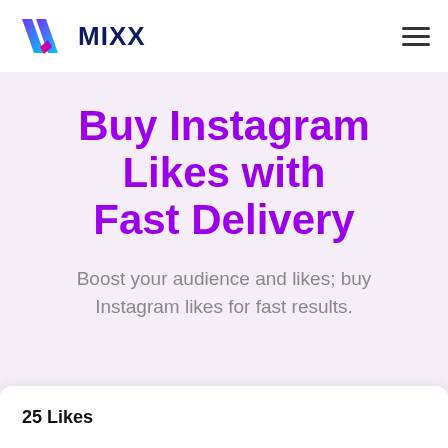[Figure (logo): MIXX logo with stylized double-slash geometric mark in purple/pink/blue gradient colors, followed by bold dark navy text MIXX]
Buy Instagram Likes with Fast Delivery
Boost your audience and likes; buy Instagram likes for fast results.
25 Likes